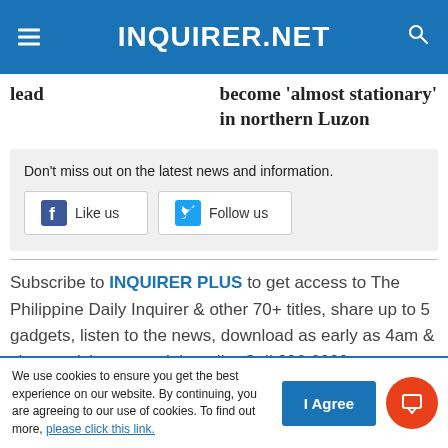INQUIRER.NET
lead
become 'almost stationary' in northern Luzon
Don't miss out on the latest news and information.
Like us
Follow us
Subscribe to INQUIRER PLUS to get access to The Philippine Daily Inquirer & other 70+ titles, share up to 5 gadgets, listen to the news, download as early as 4am & share articles on social media. Call 896 6000.
We use cookies to ensure you get the best experience on our website. By continuing, you are agreeing to our use of cookies. To find out more, please click this link.